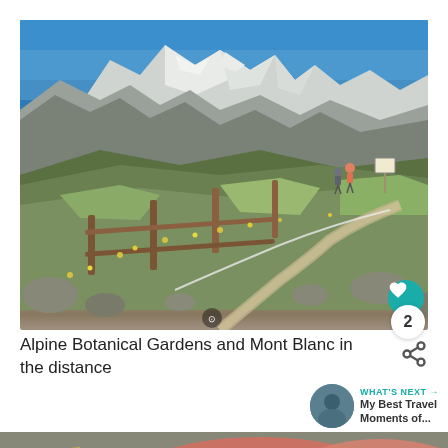[Figure (photo): Alpine Botanical Gardens with a wooden fence along a mountain trail, green alpine meadow with wildflowers, rocky mountain peaks with snow in the background under a clear blue sky, Mont Blanc visible in the distance. Two hikers visible on the trail. Heart/like button overlay and count badge showing '2'.]
Alpine Botanical Gardens and Mont Blanc in the distance
[Figure (photo): Partial view of a food platter showing charcuterie including cured meats (prosciutto/ham) and cheese on a stone surface.]